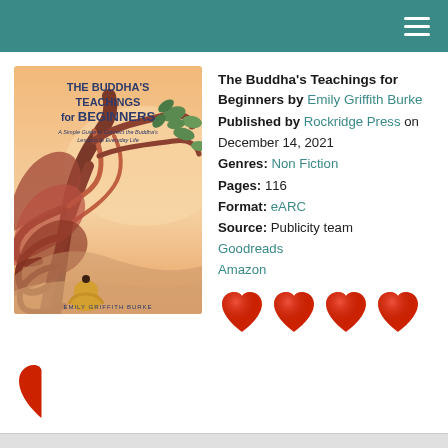Navigation header bar with hamburger menu
[Figure (illustration): Book cover of 'The Buddha's Teachings for Beginners' by Emily Griffith Burke, showing a stylized tree with flowing roots and branches, a meditating figure in yellow, warm peach/orange background with teal and brown tones.]
The Buddha's Teachings for Beginners by Emily Griffith Burke
Published by Rockridge Press on December 14, 2021
Genres: Non Fiction
Pages: 116
Format: eARC
Source: Publicity team
Goodreads
Amazon
[Figure (other): 4 red heart emoji icons representing a 4-heart rating]
[Figure (other): 1 partial/half red heart emoji icon representing 0.5 of a heart rating]